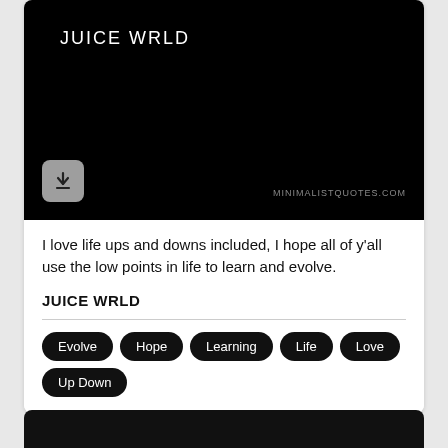[Figure (illustration): Black background image with 'JUICE WRLD' text in white at top left, a download button at bottom left, and watermark 'MINIMALISTQUOTES.COM' at bottom right]
I love life ups and downs included, I hope all of y'all use the low points in life to learn and evolve.
JUICE WRLD
Evolve
Hope
Learning
Life
Love
Up Down